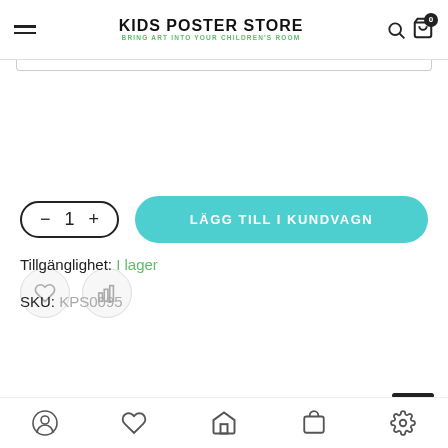KIDS POSTER STORE — BRING ART INTO YOUR CHILDREN'S ROOM
[Figure (screenshot): E-commerce product page showing quantity selector, add to cart button, wishlist/compare icons, availability and SKU, with bottom navigation bar]
Tillgänglighet: I lager
SKU: KPS0095
Bottom navigation: account, wishlist, home, cart, settings